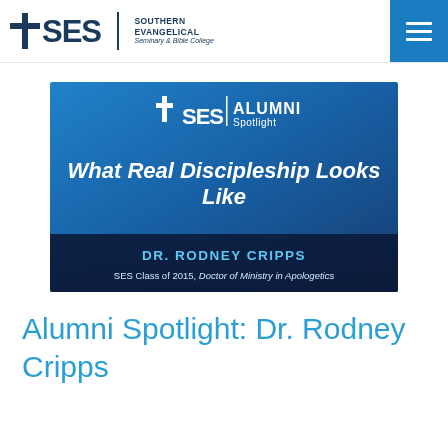SES | SOUTHERN EVANGELICAL Seminary & Bible College
[Figure (illustration): SES Alumni Spotlight banner image with blue gradient background, SES logo, ALUMNI Spotlight header, title 'What Real Discipleship Looks Like', and bottom bar with DR. RODNEY CRIPPS, SES Class of 2015, Doctor of Ministry in Apologetics]
Alumni Spotlight: Dr. Rodney Cripps